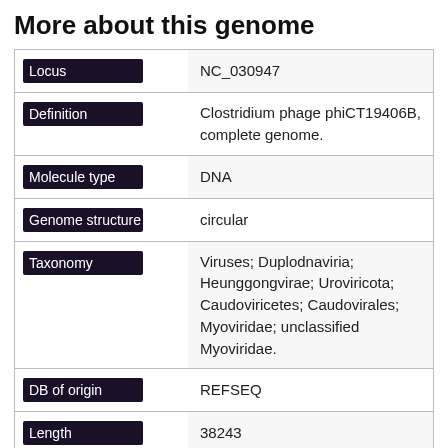More about this genome
| Field | Value |
| --- | --- |
| Locus | NC_030947 |
| Definition | Clostridium phage phiCT19406B, complete genome. |
| Molecule type | DNA |
| Genome structure | circular |
| Taxonomy | Viruses; Duplodnaviria; Heunggongvirae; Uroviricota; Caudoviricetes; Caudovirales; Myoviridae; unclassified Myoviridae. |
| DB of origin | REFSEQ |
| Length | 38243 |
| Host Name | Clostridium tetani |
| Host domain | Bacteria |